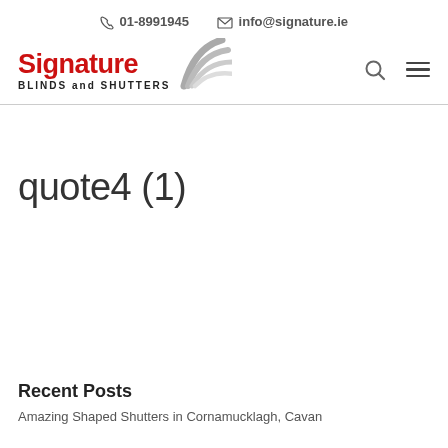📞 01-8991945   ✉ info@signature.ie
[Figure (logo): Signature Blinds and Shutters logo with fan/blinds graphic icon in grey and red text]
quote4 (1)
Recent Posts
Amazing Shaped Shutters in Cornamucklagh, Cavan